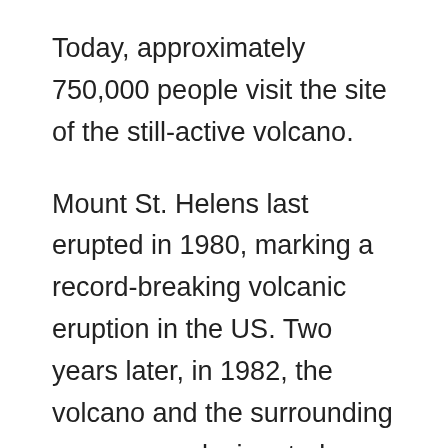Today, approximately 750,000 people visit the site of the still-active volcano.
Mount St. Helens last erupted in 1980, marking a record-breaking volcanic eruption in the US. Two years later, in 1982, the volcano and the surrounding areas were designated as a protected status for research about the effects of the eruption.
The environment is a major research area while also providing an attraction for tourists to learn more about the eruption, information about the volcano, and incredible viewpoints